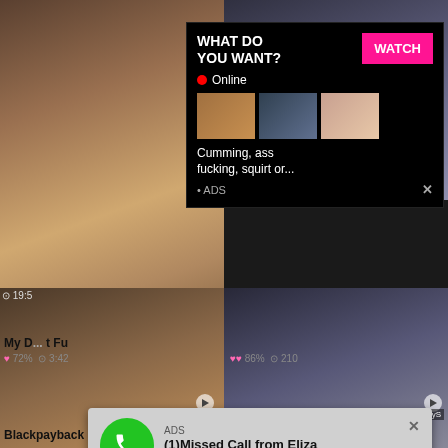[Figure (screenshot): Adult video website screenshot showing multiple video thumbnails with overlaid advertisement popups]
WHAT DO YOU WANT?
WATCH
Online
Cumming, ass fucking, squirt or...
• ADS
My D[ick] ... t Fu[ck]
72% 3:42
86% 210
19:5[x]
ADS
(1)Missed Call from Eliza
pleeease call me back.. I miss you!
0:00
3:23
Blackpayback Leigh Raven
Married Couple Anal Fucks